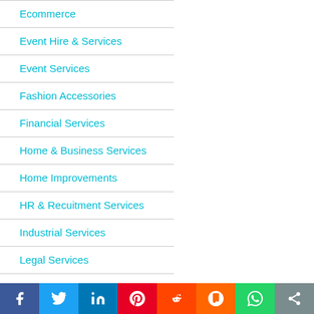Ecommerce
Event Hire & Services
Event Services
Fashion Accessories
Financial Services
Home & Business Services
Home Improvements
HR & Recuitment Services
Industrial Services
Legal Service